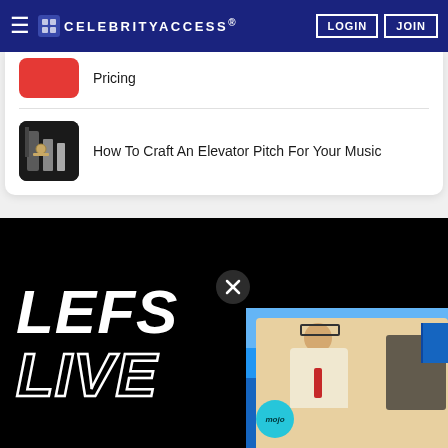CELEBRITYACCESS. LOGIN JOIN
Pricing
How To Craft An Elevator Pitch For Your Music
[Figure (screenshot): Video area showing LEFS LIVE text in bold white italic letters on black background, with a picture-in-picture overlay of a person playing accordion against a blue sky background, a mojo badge, and an X close button]
LEFS LIVE